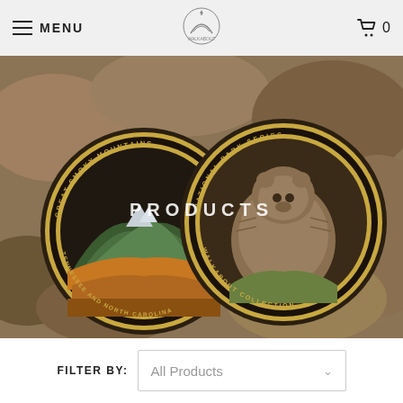MENU  [logo]  0
[Figure (photo): Two decorative collector coins resting on rocks. Left coin: Great Smoky Mountains, Tennessee and North Carolina, with mountain landscape. Right coin: National Park Series, Walkabout Collection, with bear imagery.]
PRODUCTS
FILTER BY:  All Products